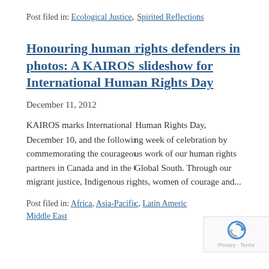Post filed in: Ecological Justice, Spirited Reflections
Honouring human rights defenders in photos: A KAIROS slideshow for International Human Rights Day
December 11, 2012
KAIROS marks International Human Rights Day, December 10, and the following week of celebration by commemorating the courageous work of our human rights partners in Canada and in the Global South. Through our migrant justice, Indigenous rights, women of courage and...
Post filed in: Africa, Asia-Pacific, Latin America, Middle East